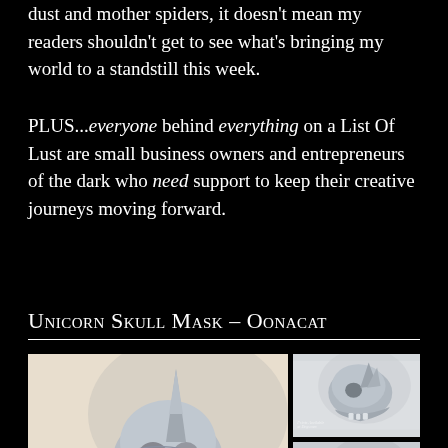dust and mother spiders, it doesn't mean my readers shouldn't get to see what's bringing my world to a standstill this week.
PLUS...everyone behind everything on a List Of Lust are small business owners and entrepreneurs of the dark who need support to keep their creative journeys moving forward.
Unicorn Skull Mask – Oonacat
[Figure (photo): Two product photos of a unicorn skull mask by Oonacat, showing front/side views of a detailed grey/white skull mask with horns on a light background.]